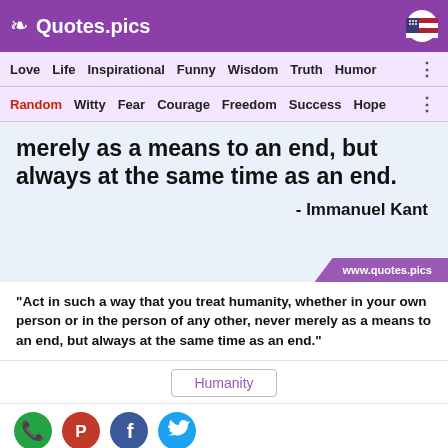Quotes.pics
Love  Life  Inspirational  Funny  Wisdom  Truth  Humor
Random  Witty  Fear  Courage  Freedom  Success  Hope
[Figure (screenshot): Quote image on light blue background: 'merely as a means to an end, but always at the same time as an end.' - Immanuel Kant, with www.quotes.pics badge]
“Act in such a way that you treat humanity, whether in your own person or in the person of any other, never merely as a means to an end, but always at the same time as an end.”
Humanity
[Figure (infographic): Social sharing icons: WhatsApp, Pinterest, Facebook, Twitter]